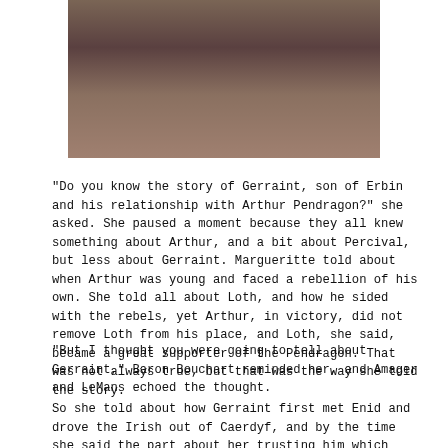[Figure (photo): A close-up photograph of two people embracing, one wearing a bracelet, dressed in light gray/white clothing.]
“Do you know the story of Gerraint, son of Erbin and his relationship with Arthur Pendragon?” she asked.  She paused a moment because they all knew something about Arthur, and a bit about Percival, but less about Gerraint.  Margueritte told about when Arthur was young and faced a rebellion of his own.  She told all about Loth, and how he sided with the rebels, yet Arthur, in victory, did not remove Loth from his place, and Loth, she said, became a great supporter of the Pendragon.  That was not always true, but that was the way she told the story.
“But I thought you were going to tell about Gerraint,” Baron Bouchart reminded her, and Amager and LeMans echoed the thought.
So she told about how Gerraint first met Enid and drove the Irish out of Caerdyf, and by the time she said the part about her trusting him which made him confess his love for her,